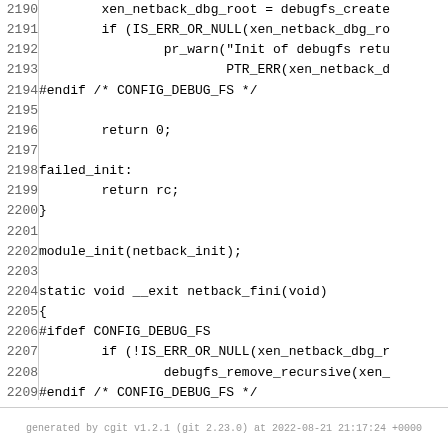[Figure (screenshot): Source code listing (C language) showing lines 2190-2215 of a Linux kernel module file, with line numbers on the left separated by a vertical bar, and code on the right in monospace font.]
generated by cgit v1.2.1 (git 2.23.0) at 2022-08-21 21:17:24 +0000